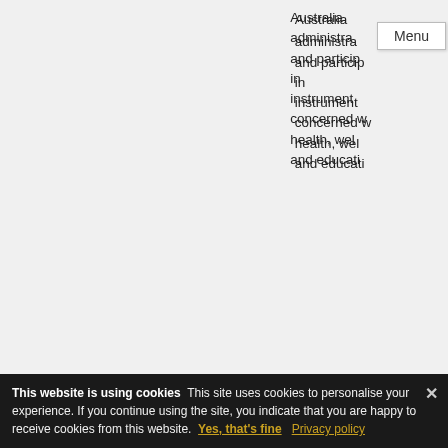| Name | Nation/Group | Year | Description |
| --- | --- | --- | --- |
|  |  |  | Australia administration and participation in instruments concerned with health, welfare and education |
| Dulcie Gladys Flower | Torres Strait Islander | 1994 | Service to the community, particularly in the area of Aboriginal health worker training |
| Duncan Tod Smith | Wiradjuri | 2016 | Service to Aboriginal youth and to the community |
This website is using cookies This site uses cookies to personalise your experience. If you continue using the site, you indicate that you are happy to receive cookies from this website. Yes, that's fine Privacy policy